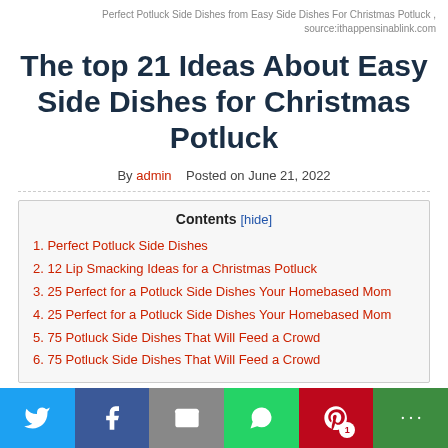Perfect Potluck Side Dishes from Easy Side Dishes For Christmas Potluck , source:ithappensinablink.com
The top 21 Ideas About Easy Side Dishes for Christmas Potluck
By admin   Posted on June 21, 2022
1. Perfect Potluck Side Dishes
2. 12 Lip Smacking Ideas for a Christmas Potluck
3. 25 Perfect for a Potluck Side Dishes Your Homebased Mom
4. 25 Perfect for a Potluck Side Dishes Your Homebased Mom
5. 75 Potluck Side Dishes That Will Feed a Crowd
6. 75 Potluck Side Dishes That Will Feed a Crowd